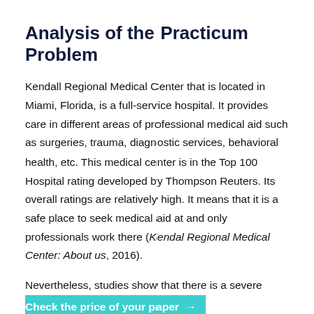Analysis of the Practicum Problem
Kendall Regional Medical Center that is located in Miami, Florida, is a full-service hospital. It provides care in different areas of professional medical aid such as surgeries, trauma, diagnostic services, behavioral health, etc. This medical center is in the Top 100 Hospital rating developed by Thompson Reuters. Its overall ratings are relatively high. It means that it is a safe place to seek medical aid at and only professionals work there (Kendal Regional Medical Center: About us, 2016).
Nevertheless, studies show that there is a severe problem of complications after being treated in this